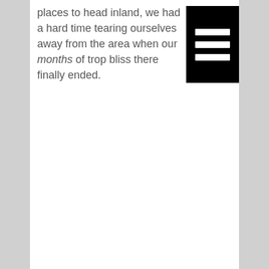places to head inland, we had a hard time tearing ourselves away from the area when our months of trop bliss there finally ended.
[Figure (illustration): Black rectangle with three horizontal white lines, resembling a hamburger menu icon]